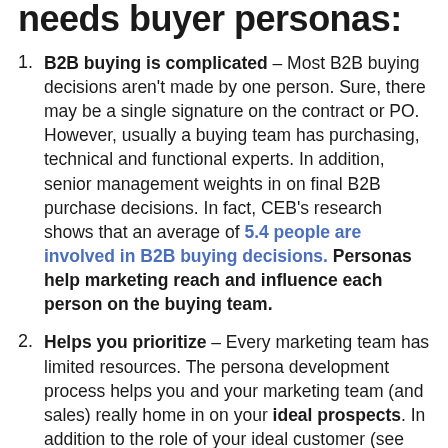needs buyer personas:
B2B buying is complicated – Most B2B buying decisions aren't made by one person. Sure, there may be a single signature on the contract or PO. However, usually a buying team has purchasing, technical and functional experts. In addition, senior management weights in on final B2B purchase decisions. In fact, CEB's research shows that an average of 5.4 people are involved in B2B buying decisions. Personas help marketing reach and influence each person on the buying team.
Helps you prioritize – Every marketing team has limited resources. The persona development process helps you and your marketing team (and sales) really home in on your ideal prospects. In addition to the role of your ideal customer (see above), developing